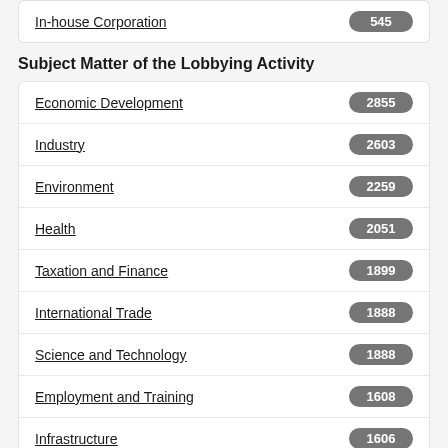In-house Corporation
Subject Matter of the Lobbying Activity
Economic Development
Industry
Environment
Health
Taxation and Finance
International Trade
Science and Technology
Employment and Training
Infrastructure